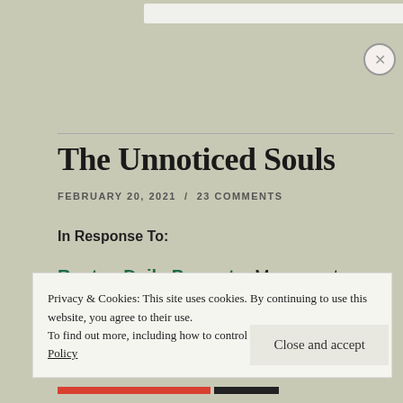The Unnoticed Souls
FEBRUARY 20, 2021  /  23 COMMENTS
In Response To:
Ragtag Daily Prompt – Movement
Privacy & Cookies: This site uses cookies. By continuing to use this website, you agree to their use.
To find out more, including how to control cookies, see here: Cookie Policy
Close and accept